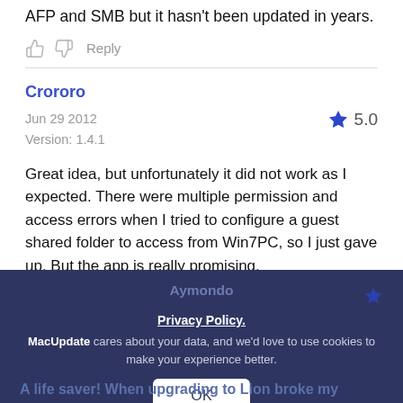AFP and SMB but it hasn't been updated in years.
Reply
Crororo
Jun 29 2012
Version: 1.4.1
5.0
Great idea, but unfortunately it did not work as I expected. There were multiple permission and access errors when I tried to configure a guest shared folder to access from Win7PC, so I just gave up. But the app is really promising.
Reply
Aymondo
Privacy Policy.
MacUpdate cares about your data, and we'd love to use cookies to make your experience better.
OK
A life saver! When upgrading to Lion broke my